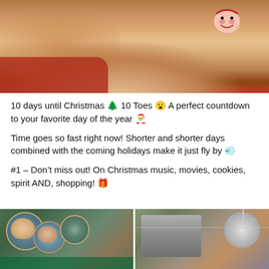[Figure (photo): Close-up photo of toes/fingers with a Santa Claus face painted on a nail, with red background visible]
10 days until Christmas 🎄 10 Toes 😮 A perfect countdown to your favorite day of the year 🎅
Time goes so fast right now! Shorter and shorter days combined with the coming holidays make it just fly by 💨
#1 – Don't miss out! On Christmas music, movies, cookies, spirit AND, shopping! 🎁
[Figure (photo): Two side-by-side photos: left shows toes in decorative containers on green background, right shows a Christmas ornament on grey background]